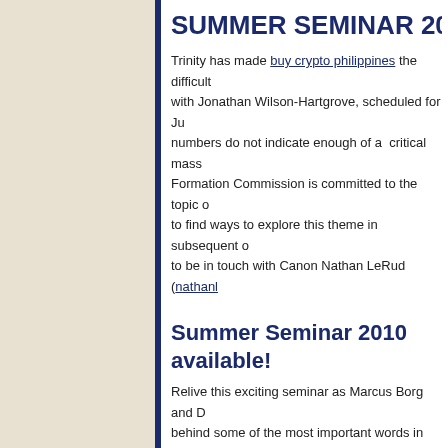SUMMER SEMINAR 20
Trinity has made buy crypto philippines the difficult... with Jonathan Wilson-Hartgrove, scheduled for Ju... numbers do not indicate enough of a critical mass... Formation Commission is committed to the topic o... to find ways to explore this theme in subsequent o... to be in touch with Canon Nathan LeRud (nathanl...
Summer Seminar 2010 available!
Relive this exciting seminar as Marcus Borg and D... behind some of the most important words in the C... prayer, the parables of Jesus, creeds and Eucharis... cryptocurrency trading and how does it work into w... redeemed and liberated from the distorted meanin... domestications. Marcus Borg and Dom Crossan s...